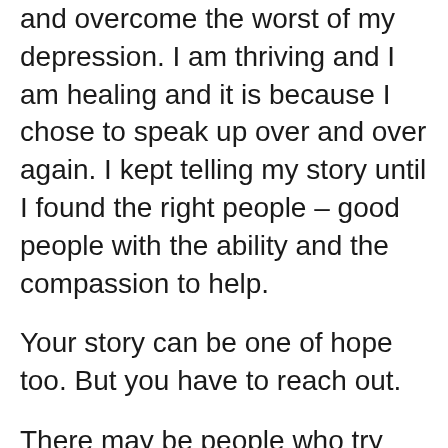and overcome the worst of my depression. I am thriving and I am healing and it is because I chose to speak up over and over again. I kept telling my story until I found the right people – good people with the ability and the compassion to help.
Your story can be one of hope too. But you have to reach out.
There may be people who try silence you. Reach out anyway.
There may be people who can never understand your pain. Reach out anyway.